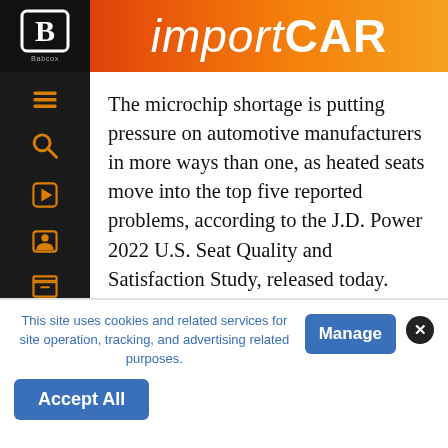importCAR
The microchip shortage is putting pressure on automotive manufacturers in more ways than one, as heated seats move into the top five reported problems, according to the J.D. Power 2022 U.S. Seat Quality and Satisfaction Study, released today. These noted problems are a reflection of either the heated seat not working properly or the microchip responsible for heating the seats has not been installed.
This site uses cookies and related services for site operation, tracking, and advertising related purposes.
Manage
Accept All